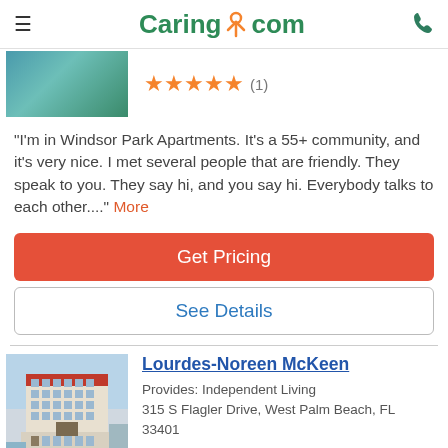Caring.com
[Figure (photo): Partial view of a listing image (green/teal outdoor scene), cropped at top]
★★★★★ (1)
"I'm in Windsor Park Apartments. It's a 55+ community, and it's very nice. I met several people that are friendly. They speak to you. They say hi, and you say hi. Everybody talks to each other...." More
Get Pricing
See Details
Lourdes-Noreen McKeen
Provides: Independent Living
315 S Flagler Drive, West Palm Beach, FL 33401